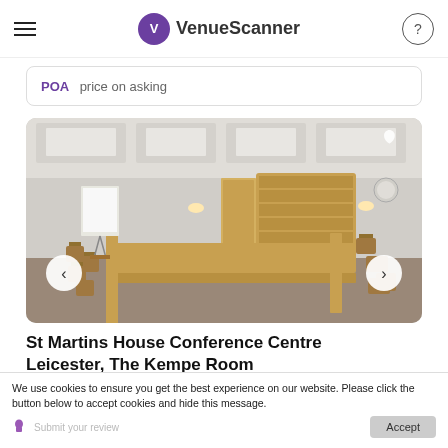VenueScanner
POA  price on asking
[Figure (photo): Interior photo of a conference room with long wooden tables arranged in a U-shape, chairs around them, a whiteboard/flipchart on the left, wooden shelving unit in the background, recessed ceiling lights.]
St Martins House Conference Centre Leicester, The Kempe Room
We use cookies to ensure you get the best experience on our website. Please click the button below to accept cookies and hide this message.